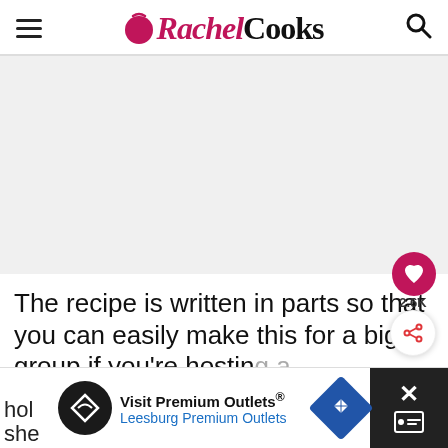Rachel Cooks
[Figure (photo): Large light gray image placeholder area for a food photo]
The recipe is written in parts so that you can easily make this for a big group if you're hosting a
[Figure (screenshot): Advertisement banner: Visit Premium Outlets® Leesburg Premium Outlets]